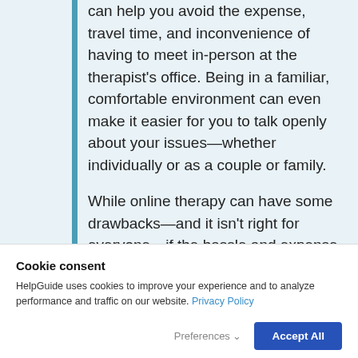can help you avoid the expense, travel time, and inconvenience of having to meet in-person at the therapist's office. Being in a familiar, comfortable environment can even make it easier for you to talk openly about your issues—whether individually or as a couple or family.

While online therapy can have some drawbacks—and it isn't right for everyone—if the hassle and expense of
Cookie consent
HelpGuide uses cookies to improve your experience and to analyze performance and traffic on our website. Privacy Policy